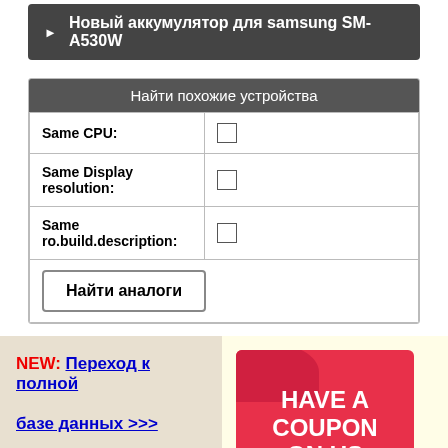Новый аккумулятор для samsung SM-A530W
| Найти похожие устройства |  |
| --- | --- |
| Same CPU: | ☐ |
| Same Display resolution: | ☐ |
| Same ro.build.description: | ☐ |
| Найти аналоги |  |
NEW: Переход к полной базе данных >>>
Последние:
[Figure (infographic): Red promotional banner with text HAVE A COUPON ON US, Shop unbelievable]